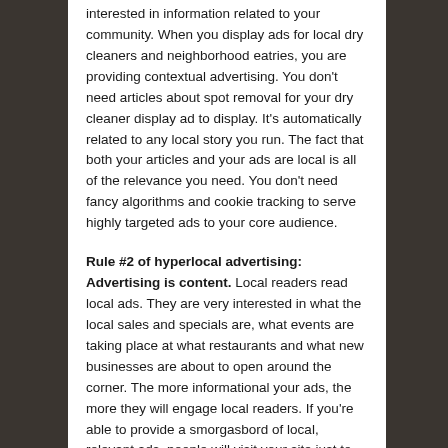interested in information related to your community. When you display ads for local dry cleaners and neighborhood eatries, you are providing contextual advertising. You don't need articles about spot removal for your dry cleaner display ad to display. It's automatically related to any local story you run. The fact that both your articles and your ads are local is all of the relevance you need. You don't need fancy algorithms and cookie tracking to serve highly targeted ads to your core audience.
Rule #2 of hyperlocal advertising: Advertising is content. Local readers read local ads. They are very interested in what the local sales and specials are, what events are taking place at what restaurants and what new businesses are about to open around the corner. The more informational your ads, the more they will engage local readers. If you're able to provide a smorgasbord of local, relevant ads, people will visit your site just to look for local businesses to patronize.
Rule #3 of hyperlocal advertising: The more local content (the more local ads) the better. It's important